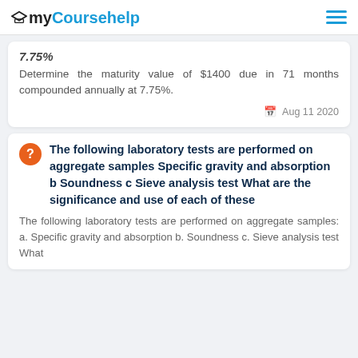myCoursehelp
7.75%
Determine the maturity value of $1400 due in 71 months compounded annually at 7.75%.
Aug 11 2020
The following laboratory tests are performed on aggregate samples Specific gravity and absorption b Soundness c Sieve analysis test What are the significance and use of each of these
The following laboratory tests are performed on aggregate samples: a. Specific gravity and absorption b. Soundness c. Sieve analysis test What